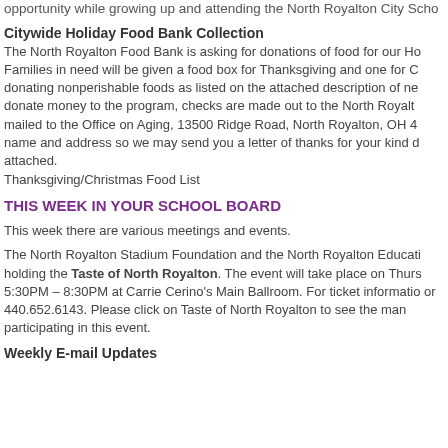opportunity while growing up and attending the North Royalton City Scho...
Citywide Holiday Food Bank Collection
The North Royalton Food Bank is asking for donations of food for our Ho... Families in need will be given a food box for Thanksgiving and one for Ch... donating nonperishable foods as listed on the attached description of ne... donate money to the program, checks are made out to the North Royalt... mailed to the Office on Aging, 13500 Ridge Road, North Royalton, OH 44... name and address so we may send you a letter of thanks for your kind d... attached.
Thanksgiving/Christmas Food List
THIS WEEK IN YOUR SCHOOL BOARD
This week there are various meetings and events.
The North Royalton Stadium Foundation and the North Royalton Educati... holding the Taste of North Royalton. The event will take place on Thurs... 5:30PM – 8:30PM at Carrie Cerino's Main Ballroom. For ticket informatio... or 440.652.6143. Please click on Taste of North Royalton to see the man... participating in this event.
Weekly E-mail Updates